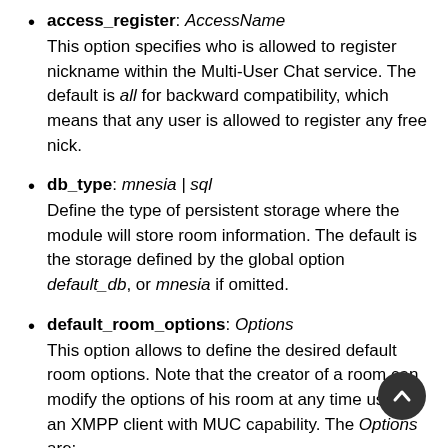access_register: AccessName
This option specifies who is allowed to register nickname within the Multi-User Chat service. The default is all for backward compatibility, which means that any user is allowed to register any free nick.
db_type: mnesia | sql
Define the type of persistent storage where the module will store room information. The default is the storage defined by the global option default_db, or mnesia if omitted.
default_room_options: Options
This option allows to define the desired default room options. Note that the creator of a room can modify the options of his room at any time using an XMPP client with MUC capability. The Options are:
allow_change_subj: true | false